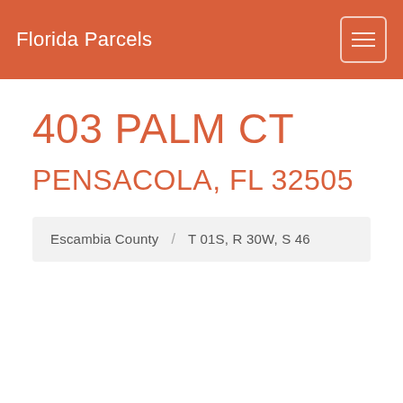Florida Parcels
403 PALM CT
PENSACOLA, FL 32505
Escambia County / T 01S, R 30W, S 46